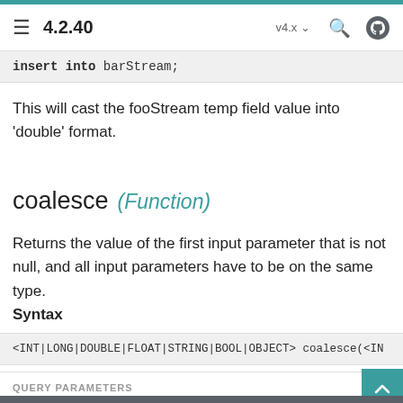4.2.40  v4.x
insert into barStream;
This will cast the fooStream temp field value into 'double' format.
coalesce (Function)
Returns the value of the first input parameter that is not null, and all input parameters have to be on the same type.
Syntax
<INT|LONG|DOUBLE|FLOAT|STRING|BOOL|OBJECT> coalesce(<IN
QUERY PARAMETERS